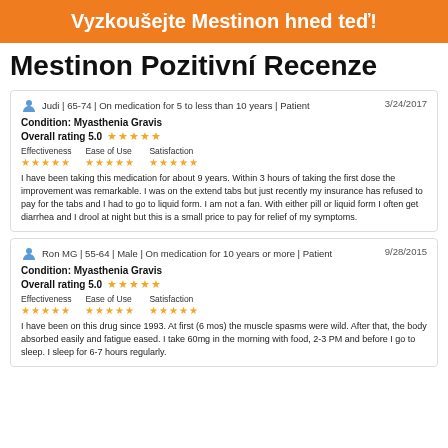Vyzkoušejte Mestinon hned teď!
Mestinon Pozitivní Recenze
Judi | 65-74 | On medication for 5 to less than 10 years | Patient  3/24/2017
Condition: Myasthenia Gravis
Overall rating 5.0 ★★★★★
Effectiveness ★★★★★  Ease of Use ★★★★★  Satisfaction ★★★★★
I have been taking this medication for about 9 years. Within 3 hours of taking the first dose the improvement was remarkable. I was on the extend tabs but just recently my insurance has refused to pay for the tabs and I had to go to liquid form. I am not a fan. With either pill or liquid form I often get diarrhea and I drool at night but this is a small price to pay for relief of my symptoms.
Ron MG | 55-64 | Male | On medication for 10 years or more | Patient  9/28/2015
Condition: Myasthenia Gravis
Overall rating 5.0 ★★★★★
Effectiveness ★★★★★  Ease of Use ★★★★★  Satisfaction ★★★★★
I have been on this drug since 1993. At first (6 mos) the muscle spasms were wild. After that, the body absorbed easily and fatigue eased. I take 60mg in the morning with food, 2-3 PM and before I go to sleep. I sleep for 6-7 hours regularly.